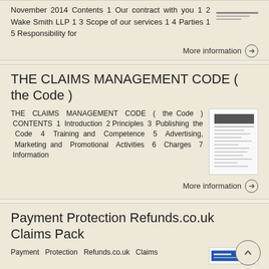November 2014 Contents 1 Our contract with you 1 2 Wake Smith LLP 1 3 Scope of our services 1 4 Parties 1 5 Responsibility for
More information →
THE CLAIMS MANAGEMENT CODE ( the Code )
THE CLAIMS MANAGEMENT CODE ( the Code ) CONTENTS 1 Introduction 2 Principles 3 Publishing the Code 4 Training and Competence 5 Advertising, Marketing and Promotional Activities 6 Charges 7 Information
More information →
Payment Protection Refunds.co.uk Claims Pack
Payment Protection Refunds.co.uk Claims